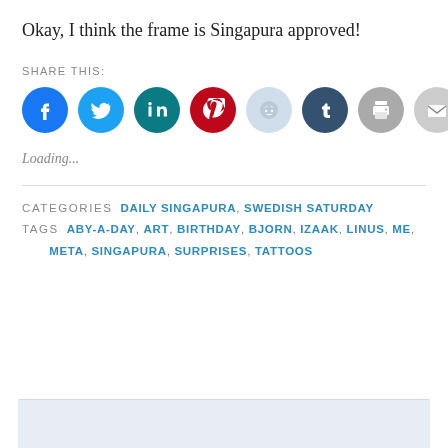Okay, I think the frame is Singapura approved!
SHARE THIS:
[Figure (infographic): Row of social media sharing icons: Facebook (blue), Twitter (light blue), LinkedIn (teal), Pinterest (red), Reddit (light blue/gray), Tumblr (dark navy), Print (gray), Email (gray)]
Loading...
CATEGORIES  DAILY SINGAPURA, SWEDISH SATURDAY
TAGS  ABY-A-DAY, ART, BIRTHDAY, BJORN, IZAAK, LINUS, ME, META, SINGAPURA, SURPRISES, TATTOOS